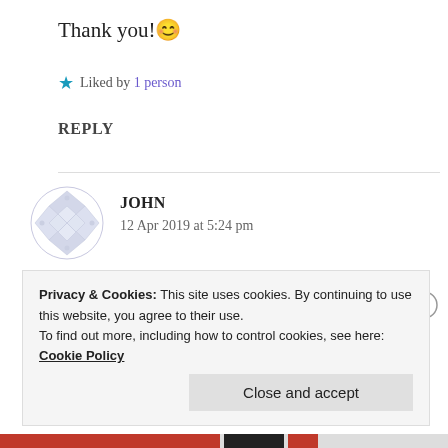Thank you! 😊
★ Liked by 1 person
REPLY
JOHN
12 Apr 2019 at 5:24 pm
I could not refrain from commenting. Well written!
Privacy & Cookies: This site uses cookies. By continuing to use this website, you agree to their use.
To find out more, including how to control cookies, see here: Cookie Policy
Close and accept